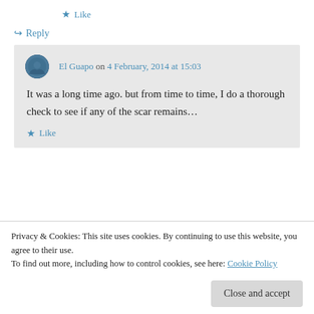★ Like
↪ Reply
El Guapo on 4 February, 2014 at 15:03
It was a long time ago. but from time to time, I do a thorough check to see if any of the scar remains…
★ Like
Privacy & Cookies: This site uses cookies. By continuing to use this website, you agree to their use.
To find out more, including how to control cookies, see here: Cookie Policy